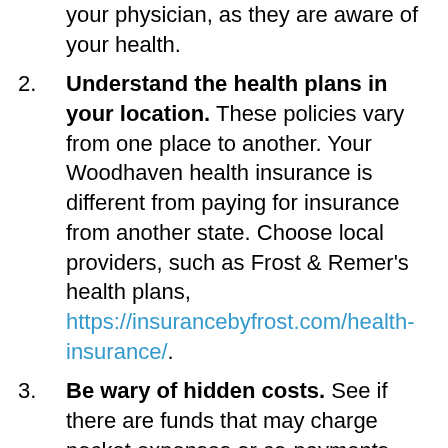your physician, as they are aware of your health.
Understand the health plans in your location. These policies vary from one place to another. Your Woodhaven health insurance is different from paying for insurance from another state. Choose local providers, such as Frost & Remer's health plans, https://insurancebyfrost.com/health-insurance/.
Be wary of hidden costs. See if there are funds that may charge pocket expenses or co-payments. Talk to your insurance agent and have him discuss the policy to the fullest detail.